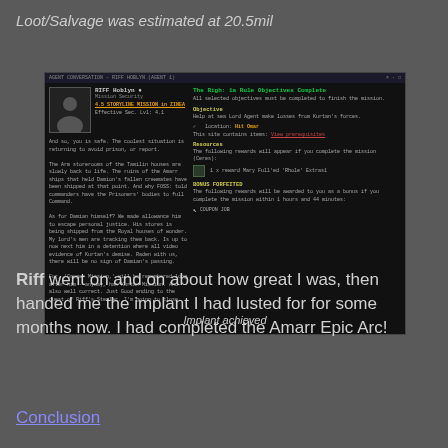Loot/Salvage was estimated at 20.5mil
[Figure (screenshot): In-game screenshot from EVE Online showing a mission completion screen. Left panel shows character RIFF Hoblyn with faction info and mission text. Right panel shows 'The Righ: 1a Rule Objectives Complete' in green, with Objective, Resources, and Bonus Forfeited sections. Below the screenshot is italic text 'Implant achieved'.]
Riff went on and on about how great I was, then handed me the implant I had lusted for for some months now. I had completed the Amarr Epic Arc!
Conclusion